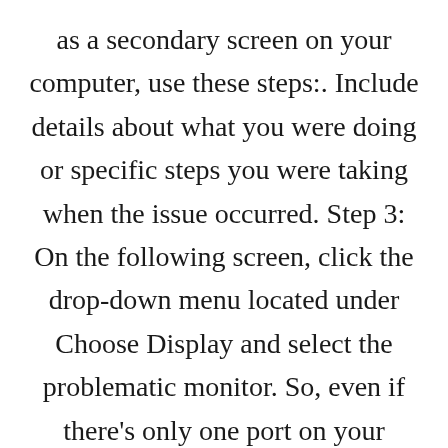as a secondary screen on your computer, use these steps:. Include details about what you were doing or specific steps you were taking when the issue occurred. Step 3: On the following screen, click the drop-down menu located under Choose Display and select the problematic monitor. So, even if there’s only one port on your desktop, don’t hesitate to pop the cover and check for any available slots for another video card.